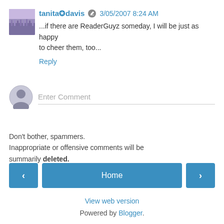tanita✪davis  3/05/2007 8:24 AM
...if there are ReaderGuyz someday, I will be just as happy to cheer them, too...
Reply
Enter Comment
Don't bother, spammers.
Inappropriate or offensive comments will be summarily deleted.
< Home >
View web version
Powered by Blogger.